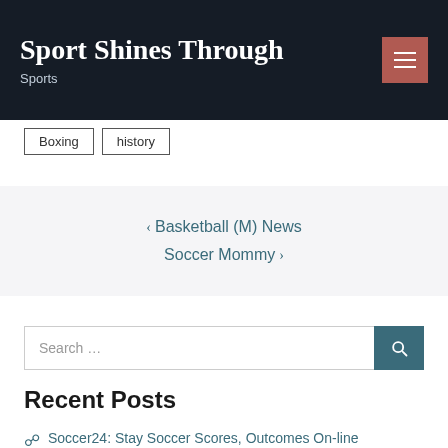Sport Shines Through — Sports
Boxing
history
< Basketball (M) News
Soccer Mommy >
Search …
Recent Posts
Soccer24: Stay Soccer Scores, Outcomes On-line